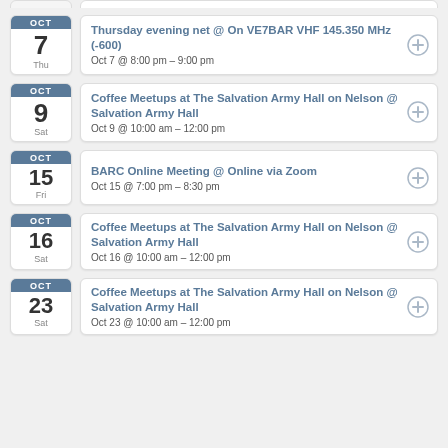OCT 7 Thu — Thursday evening net @ On VE7BAR VHF 145.350 MHz (-600) — Oct 7 @ 8:00 pm – 9:00 pm
OCT 9 Sat — Coffee Meetups at The Salvation Army Hall on Nelson @ Salvation Army Hall — Oct 9 @ 10:00 am – 12:00 pm
OCT 15 Fri — BARC Online Meeting @ Online via Zoom — Oct 15 @ 7:00 pm – 8:30 pm
OCT 16 Sat — Coffee Meetups at The Salvation Army Hall on Nelson @ Salvation Army Hall — Oct 16 @ 10:00 am – 12:00 pm
OCT 23 Sat — Coffee Meetups at The Salvation Army Hall on Nelson @ Salvation Army Hall — Oct 23 @ 10:00 am – 12:00 pm